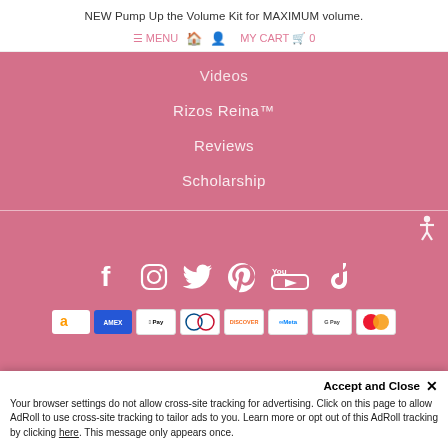NEW Pump Up the Volume Kit for MAXIMUM volume.
≡ MENU  🏠  👤  MY CART  🛒  0
Videos
Rizos Reina™
Reviews
Scholarship
[Figure (infographic): Social media icons row: Facebook, Instagram, Twitter, Pinterest, YouTube, TikTok]
[Figure (infographic): Payment method icons row: Amazon, Amex, Apple Pay, Diners Club, Discover, Meta Pay, Google Pay, Mastercard]
Accept and Close ✕
Your browser settings do not allow cross-site tracking for advertising. Click on this page to allow AdRoll to use cross-site tracking to tailor ads to you. Learn more or opt out of this AdRoll tracking by clicking here. This message only appears once.